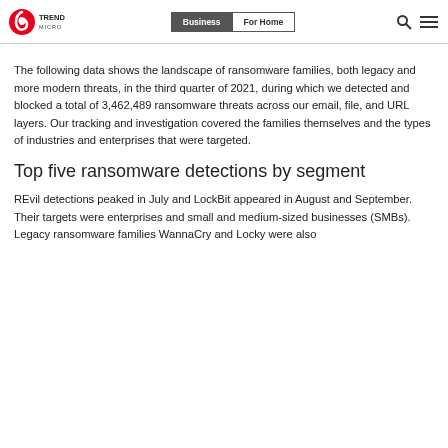Trend Micro | Business | For Home
The following data shows the landscape of ransomware families, both legacy and more modern threats, in the third quarter of 2021, during which we detected and blocked a total of 3,462,489 ransomware threats across our email, file, and URL layers. Our tracking and investigation covered the families themselves and the types of industries and enterprises that were targeted.
Top five ransomware detections by segment
REvil detections peaked in July and LockBit appeared in August and September. Their targets were enterprises and small and medium-sized businesses (SMBs). Legacy ransomware families WannaCry and Locky were also